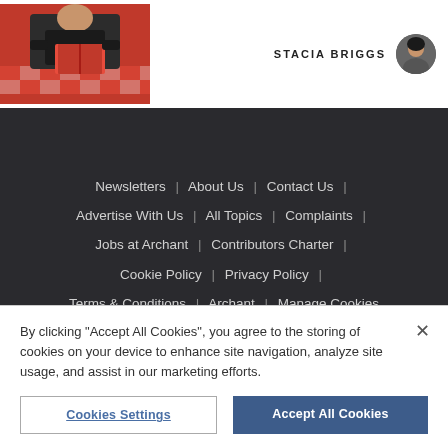[Figure (photo): Photo of a person at a table with books/magazines, wearing a black shirt; red and white checkered tablecloth visible]
STACIA BRIGGS
Newsletters | About Us | Contact Us | Advertise With Us | All Topics | Complaints | Jobs at Archant | Contributors Charter | Cookie Policy | Privacy Policy | Terms & Conditions | Archant | Manage Cookies
[Figure (logo): IPSO Regulated badge — circular IPSO logo with 'Regulated' text in a rounded banner shape]
By clicking "Accept All Cookies", you agree to the storing of cookies on your device to enhance site navigation, analyze site usage, and assist in our marketing efforts.
Cookies Settings
Accept All Cookies